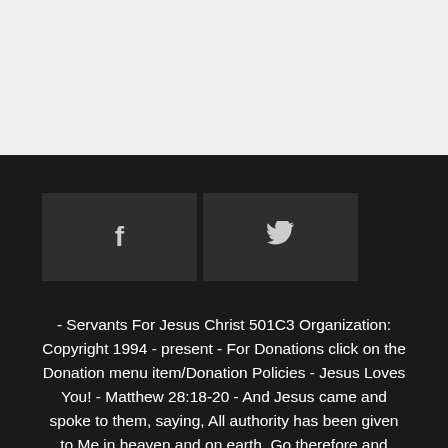[Figure (other): Two social media buttons: Facebook (f) and Twitter (bird icon) on dark background]
- Servants For Jesus Christ 501C3 Organization: Copyright 1994 - present - For Donations click on the Donation menu item/Donation Policies - Jesus Loves You! - Matthew 28:18-20 - And Jesus came and spoke to them, saying, All authority has been given to Me in heaven and on earth. Go therefore and make disciples of all the nations, baptizing them in the name of the Father and of the Son and of the Holy Spirit, teaching them to observe all things that I have commanded you; and lo, I am with you always, even to the end of the age. Amen. (NKJV)